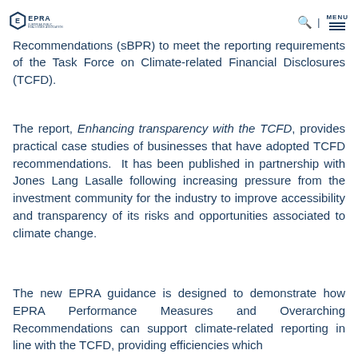EPRA – European Public Real Estate Association
today published new guidance for listed property companies already reporting EPRA Sustainability Best Practice Recommendations (sBPR) to meet the reporting requirements of the Task Force on Climate-related Financial Disclosures (TCFD).
The report, Enhancing transparency with the TCFD, provides practical case studies of businesses that have adopted TCFD recommendations. It has been published in partnership with Jones Lang Lasalle following increasing pressure from the investment community for the industry to improve accessibility and transparency of its risks and opportunities associated to climate change.
The new EPRA guidance is designed to demonstrate how EPRA Performance Measures and Overarching Recommendations can support climate-related reporting in line with the TCFD, providing efficiencies which